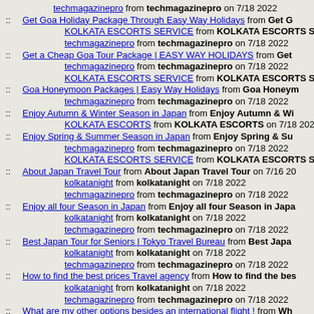techmagazinepro from techmagazinepro on 7/18 2022
:: Get Goa Holiday Package Through Easy Way Holidays from Get G... KOLKATA ESCORTS SERVICE from KOLKATA ESCORTS SE... techmagazinepro from techmagazinepro on 7/18 2022
:: Get a Cheap Goa Tour Package | EASY WAY HOLIDAYS from Get... techmagazinepro from techmagazinepro on 7/18 2022 KOLKATA ESCORTS SERVICE from KOLKATA ESCORTS SE...
:: Goa Honeymoon Packages | Easy Way Holidays from Goa Honeym... techmagazinepro from techmagazinepro on 7/18 2022
:: Enjoy Autumn & Winter Season in Japan from Enjoy Autumn & Wi... KOLKATA ESCORTS from KOLKATA ESCORTS on 7/18 2022
:: Enjoy Spring & Summer Season in Japan from Enjoy Spring & Su... techmagazinepro from techmagazinepro on 7/18 2022 KOLKATA ESCORTS SERVICE from KOLKATA ESCORTS SE...
:: About Japan Travel Tour from About Japan Travel Tour on 7/16 20... kolkatanight from kolkatanight on 7/18 2022 techmagazinepro from techmagazinepro on 7/18 2022
:: Enjoy all four Season in Japan from Enjoy all four Season in Japa... kolkatanight from kolkatanight on 7/18 2022 techmagazinepro from techmagazinepro on 7/18 2022
:: Best Japan Tour for Seniors | Tokyo Travel Bureau from Best Japa... kolkatanight from kolkatanight on 7/18 2022 techmagazinepro from techmagazinepro on 7/18 2022
:: How to find the best prices Travel agency from How to find the bes... kolkatanight from kolkatanight on 7/18 2022 techmagazinepro from techmagazinepro on 7/18 2022
:: What are my other options besides an international flight ! from Wh... kolkatanight from kolkatanight on 7/18 2022 techmagazinepro from techmagazinepro on 7/18 2022
:: Book Cheap International Flight Tickets And Save On Fees | fly24h... kolkatanight from kolkatanight on 7/18 2022